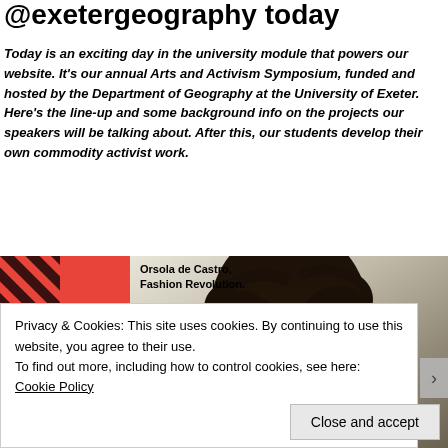@exetergeography today
Today is an exciting day in the university module that powers our website. It's our annual Arts and Activism Symposium, funded and hosted by the Department of Geography at the University of Exeter. Here's the line-up and some background info on the projects our speakers will be talking about. After this, our students develop their own commodity activist work.
[Figure (photo): Image showing a book cover 'HOW TO BE A FASHION REVOLUTIONARY' on a red background with diagonal stripes, alongside a photo of Orsola de Castro with caption 'Orsola de Castro, Fashion Revolution.']
Privacy & Cookies: This site uses cookies. By continuing to use this website, you agree to their use.
To find out more, including how to control cookies, see here: Cookie Policy
Close and accept